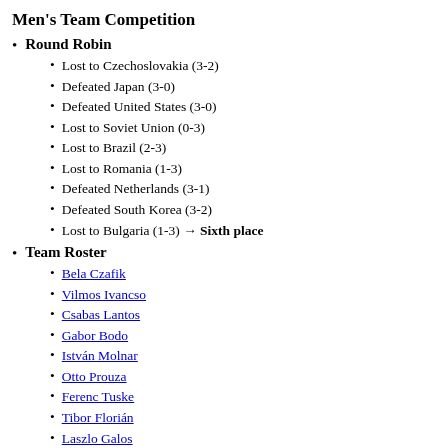Men's Team Competition
Round Robin
Lost to Czechoslovakia (3-2)
Defeated Japan (3-0)
Defeated United States (3-0)
Lost to Soviet Union (0-3)
Lost to Brazil (2-3)
Lost to Romania (1-3)
Defeated Netherlands (3-1)
Defeated South Korea (3-2)
Lost to Bulgaria (1-3) → Sixth place
Team Roster
Bela Czafik
Vilmos Ivancso
Csabas Lantos
Gabor Bodo
István Molnar
Otto Prouza
Ferenc Tuske
Tibor Florián
Laszlo Galos